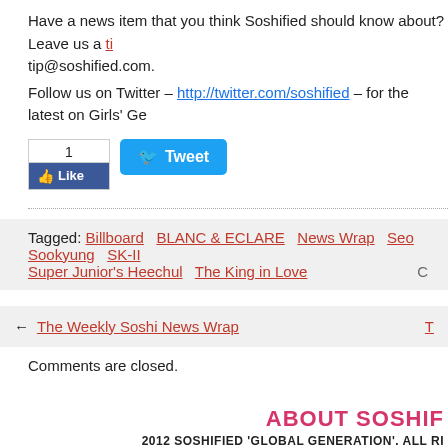Have a news item that you think Soshified should know about? Leave us a tip or email tip@soshified.com.
Follow us on Twitter – http://twitter.com/soshified – for the latest on Girls' Ge...
[Figure (other): Social media buttons: Facebook Like button showing count of 1, and a Twitter Tweet button]
Tagged: Billboard  BLANC & ECLARE  News Wrap  Seo Sookyung  SK-II  Super Junior's Heechul  The King in Love
← The Weekly Soshi News Wrap
Comments are closed.
ABOUT SOSHIFIED
2012 SOSHIFIED 'GLOBAL GENERATION'. ALL RIGHTS RESERVED.